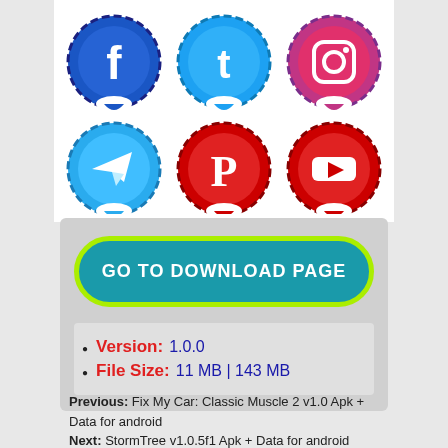[Figure (illustration): Six social media icons in two rows: Facebook (blue), Twitter (blue), Instagram (pink/purple), Telegram (blue), Pinterest (red), YouTube (red), each with circular chat-bubble style design on white background]
[Figure (infographic): Download button banner: teal rounded rectangle with yellow-green border reading 'GO TO DOWNLOAD PAGE' in white bold text, on a light gray background]
Version: 1.0.0
File Size: 11 MB | 143 MB
Previous: Fix My Car: Classic Muscle 2 v1.0 Apk + Data for android
Next: StormTree v1.0.5f1 Apk + Data for android